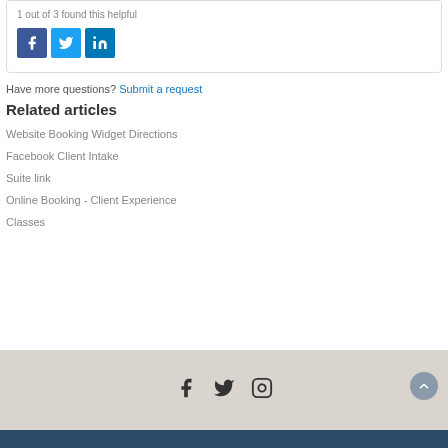1 out of 3 found this helpful
[Figure (other): Social share buttons: Facebook (dark blue), Twitter (light blue), LinkedIn (blue)]
Have more questions? Submit a request
Related articles
Website Booking Widget Directions
Facebook Client Intake
Suite link
Online Booking - Client Experience
Classes
[Figure (other): Footer social icons: Facebook, Twitter, Instagram]